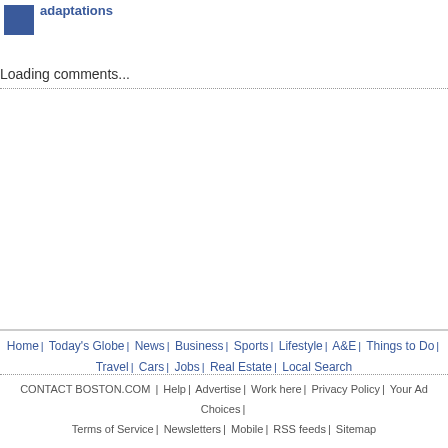adaptations
Loading comments...
Home | Today's Globe | News | Business | Sports | Lifestyle | A&E | Things to Do | Travel | Cars | Jobs | Real Estate | Local Search
CONTACT BOSTON.COM | Help | Advertise | Work here | Privacy Policy | Your Ad Choices | Terms of Service | Newsletters | Mobile | RSS feeds | Sitemap